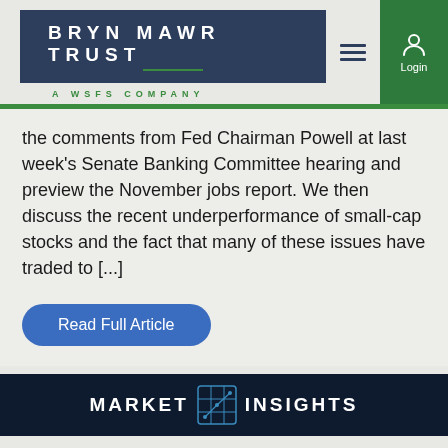[Figure (logo): Bryn Mawr Trust - A WSFS Company logo with navigation hamburger menu and login button]
the comments from Fed Chairman Powell at last week's Senate Banking Committee hearing and preview the November jobs report. We then discuss the recent underperformance of small-cap stocks and the fact that many of these issues have traded to [...]
Read Full Article
[Figure (logo): Market Insights logo on dark navy background - partial view at bottom of page]